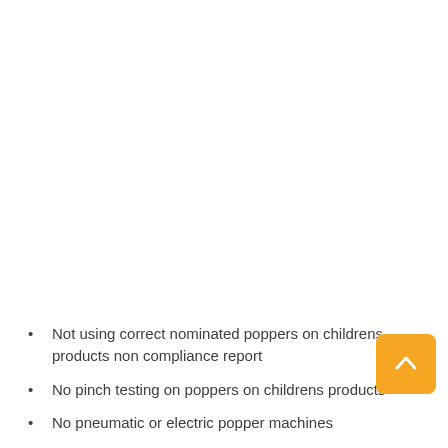Not using correct nominated poppers on childrens products non compliance report
No pinch testing on poppers on childrens products
No pneumatic or electric popper machines